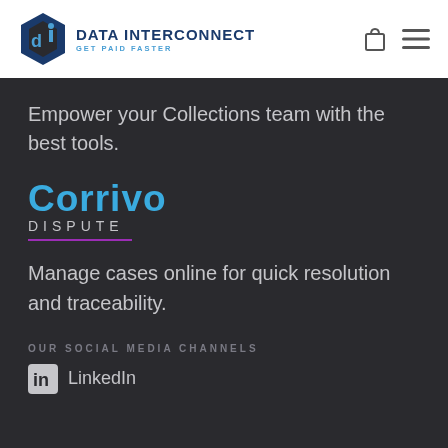[Figure (logo): Data Interconnect logo with hexagon icon and text 'DATA INTERCONNECT GET PAID FASTER']
[Figure (other): Shopping bag icon and hamburger menu icon in header]
Empower your Collections team with the best tools.
[Figure (logo): Corrivo Dispute logo in blue with purple underline]
Manage cases online for quick resolution and traceability.
OUR SOCIAL MEDIA CHANNELS
LinkedIn